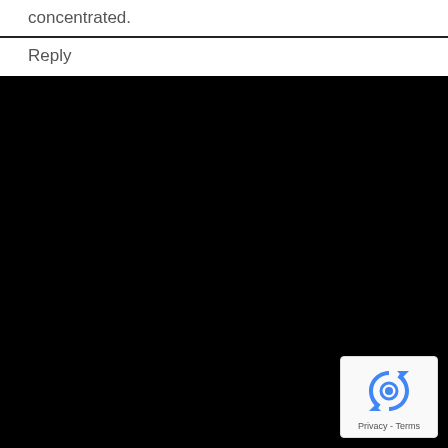concentrated.
Reply
[Figure (other): Large black background section occupying the lower portion of the page]
[Figure (logo): Google reCAPTCHA badge with spinning arrows logo and Privacy - Terms text]